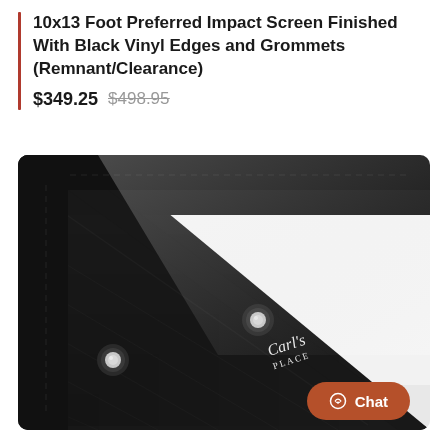10x13 Foot Preferred Impact Screen Finished With Black Vinyl Edges and Grommets (Remnant/Clearance)
$349.25 $498.95
[Figure (photo): Close-up photo of a projection screen corner showing white screen material with black vinyl edge trim, metal grommets, and Carl's Place logo embroidered on the black vinyl border.]